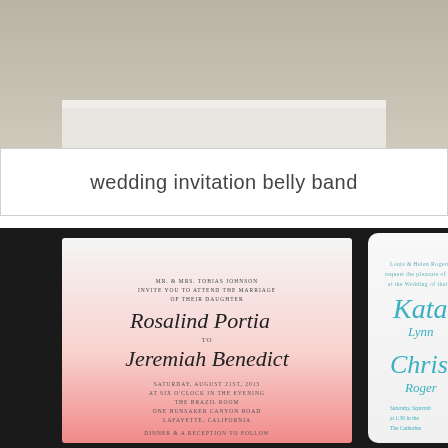[Figure (photo): Top portion of a photo showing a beige/tan background, partial view of a wedding invitation scene]
wedding invitation belly band
[Figure (photo): Photo of two wedding invitations on a dark background. Left invitation has a white-to-pink ombre glitter effect with script text reading 'Rosalind Portia to Jeremiah Benedict' and event details. Right invitation is white with teal script text showing 'Katarina Lynn & Christopher Roger' names.]